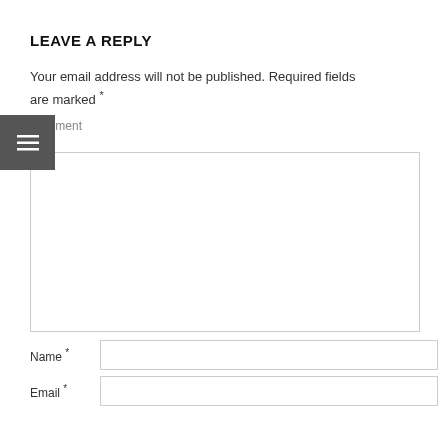LEAVE A REPLY
Your email address will not be published. Required fields are marked *
Comment *
[Figure (screenshot): Empty comment textarea input box with resize handle]
Name *
[Figure (screenshot): Empty Name text input field]
Email *
[Figure (screenshot): Empty Email text input field]